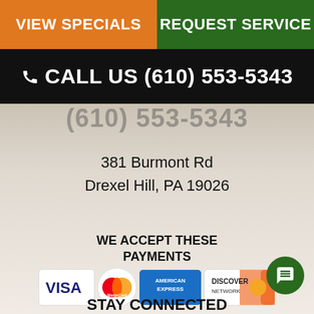VIEW SPECIALS
REQUEST SERVICE
CALL US (610) 553-5343
(610) 553-5343
381 Burmont Rd
Drexel Hill, PA 19026
WE ACCEPT THESE PAYMENTS
[Figure (infographic): Payment card logos: Visa, Mastercard, American Express, Discover]
STAY CONNECTED